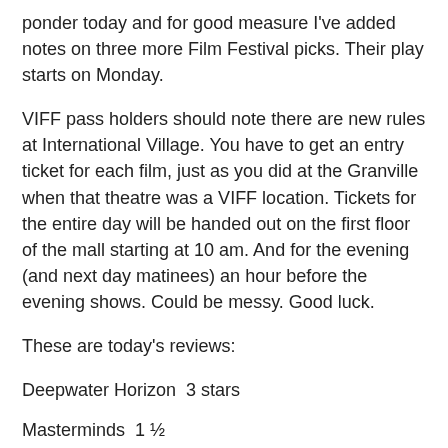ponder today and for good measure I've added notes on three more Film Festival picks. Their play starts on Monday.
VIFF pass holders should note there are new rules at International Village. You have to get an entry ticket for each film, just as you did at the Granville when that theatre was a VIFF location. Tickets for the entire day will be handed out on the first floor of the mall starting at 10 am. And for the evening (and next day matinees) an hour before the evening shows. Could be messy. Good luck.
These are today's reviews:
Deepwater Horizon  3 stars
Masterminds  1 ½